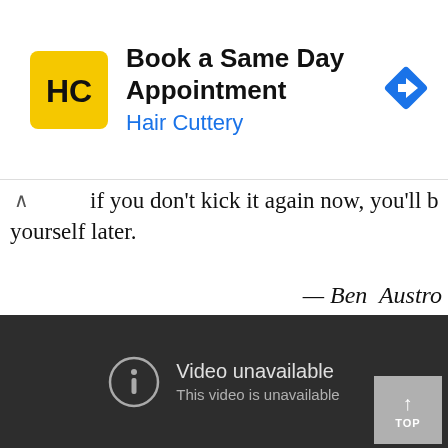[Figure (screenshot): Hair Cuttery advertisement banner: yellow HC logo, text 'Book a Same Day Appointment' and 'Hair Cuttery' in blue, blue navigation diamond icon on right]
if you don't kick it again now, you'll be kicking yourself later.
— Ben  Austro
[Figure (screenshot): Dark gray video player showing 'Video unavailable' message with circle-exclamation icon and text 'This video is unavailable'. Bottom right has a gray 'TOP' button with upward arrow.]